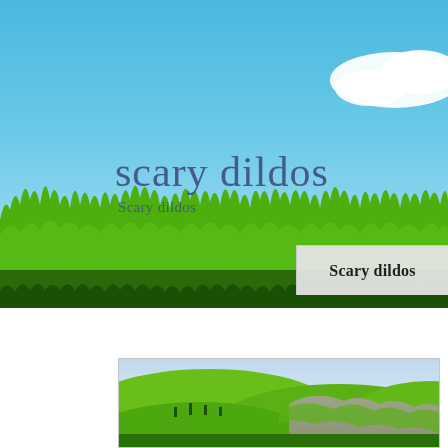[Figure (photo): Top banner: blue sky background with a white cloud on the upper right and green grass strip along the bottom. Text 'scary dildos' and 'Scary dildos' overlaid on the sky. A grey label box on the right reads 'Scary dildos'.]
scary dildos
Scary dildos
Scary dildos
[Figure (photo): Bottom framed landscape image showing green rolling hills and rocky terrain under a light blue sky.]